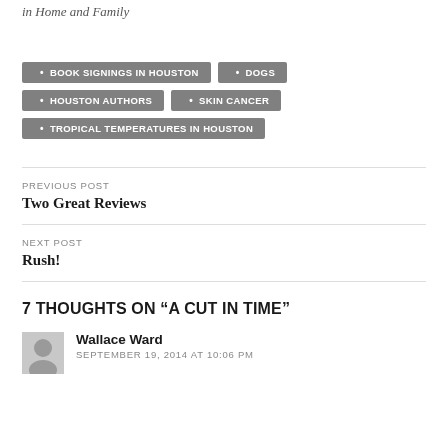in Home and Family
BOOK SIGNINGS IN HOUSTON
DOGS
HOUSTON AUTHORS
SKIN CANCER
TROPICAL TEMPERATURES IN HOUSTON
PREVIOUS POST
Two Great Reviews
NEXT POST
Rush!
7 THOUGHTS ON “A CUT IN TIME”
Wallace Ward
SEPTEMBER 19, 2014 AT 10:06 PM